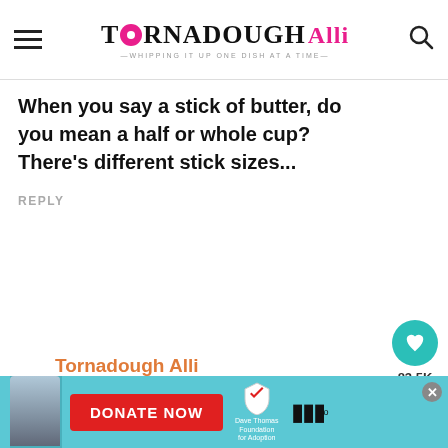TORNADOUGH Alli — Whipping it up one dish at a time
When you say a stick of butter, do you mean a half or whole cup? There's different stick sizes...
REPLY
83.5K
Tornadough Alli
November 21, 2019 at 4:29 pm
[Figure (infographic): What's Next banner with Cream Cheese Carrot Cake thumbnail image]
WHAT'S NEXT → Cream Cheese Carrot Cake...
Sorry it would be half cup, change that in
[Figure (infographic): Advertisement banner for Dave Thomas Foundation for Adoption with Donate Now button and a boy's photo]